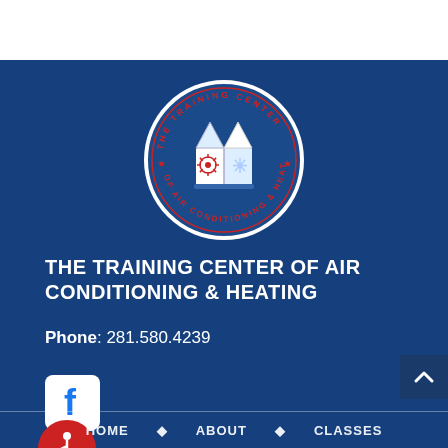[Figure (logo): The Training Center of Air Conditioning & Heating circular logo with open book, sun and snowflake symbols, white and red on dark blue background]
THE TRAINING CENTER OF AIR CONDITIONING & HEATING
Phone: 281.580.4239
[Figure (logo): Facebook social media icon - white F on white background box]
[Figure (logo): Accessibility/wheelchair icon - white symbol on red circular background]
HOME   ABOUT   CLASSES